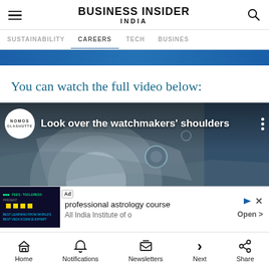BUSINESS INSIDER INDIA
SUSTAINABILITY  CAREERS  TECH  BUSINESS
You can watch the full video below:
[Figure (screenshot): Video thumbnail showing watchmaker parts with NOMOS logo and title 'Look over the watchmakers' shoulders', with advertisement overlay for 'professional astrology course' by All India Institute]
Home  Notifications  Newsletters  Next  Share